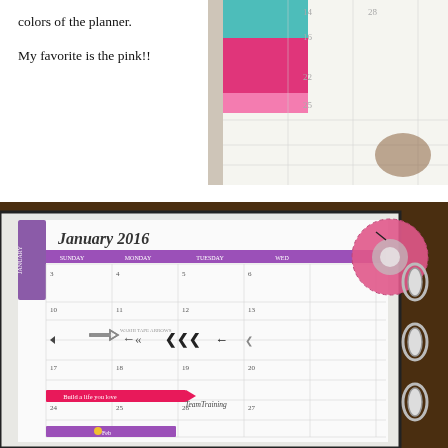colors of the planner.

My favorite is the pink!!
[Figure (photo): Close-up photo of a planner showing colorful tab sections in teal, pink, and other colors against a white calendar page background.]
[Figure (photo): Photo of an open planner in a binder showing January 2016 monthly calendar page with purple header, pink washi tape/stickers, arrow washi tape samples across the middle of the page, and a roll of pink decorative tape sitting on top.]